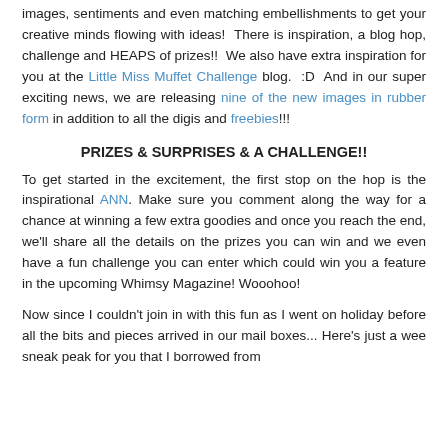images, sentiments and even matching embellishments to get your creative minds flowing with ideas!  There is inspiration, a blog hop, challenge and HEAPS of prizes!!  We also have extra inspiration for you at the Little Miss Muffet Challenge blog.  :D  And in our super exciting news, we are releasing nine of the new images in rubber form in addition to all the digis and freebies!!!
PRIZES & SURPRISES & A CHALLENGE!!
To get started in the excitement, the first stop on the hop is the inspirational ANN. Make sure you comment along the way for a chance at winning a few extra goodies and once you reach the end, we'll share all the details on the prizes you can win and we even have a fun challenge you can enter which could win you a feature in the upcoming Whimsy Magazine! Wooohoo!
Now since I couldn't join in with this fun as I went on holiday before all the bits and pieces arrived in our mail boxes... Here's just a wee sneak peak for you that I borrowed from